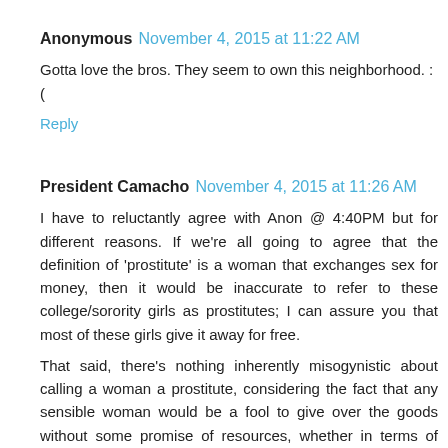Anonymous  November 4, 2015 at 11:22 AM
Gotta love the bros. They seem to own this neighborhood. :(
(
Reply
President Camacho  November 4, 2015 at 11:26 AM
I have to reluctantly agree with Anon @ 4:40PM but for different reasons. If we're all going to agree that the definition of 'prostitute' is a woman that exchanges sex for money, then it would be inaccurate to refer to these college/sorority girls as prostitutes; I can assure you that most of these girls give it away for free.
That said, there's nothing inherently misogynistic about calling a woman a prostitute, considering the fact that any sensible woman would be a fool to give over the goods without some promise of resources, whether in terms of time or money. Let's not pretend otherwise. This is the East